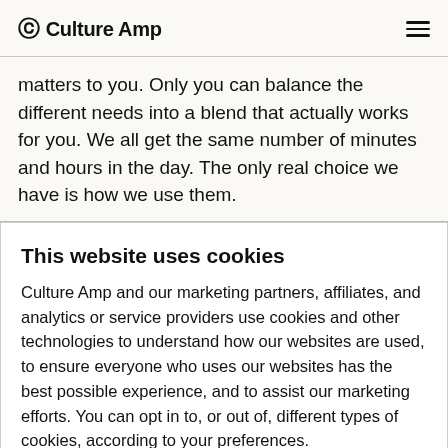Culture Amp
matters to you. Only you can balance the different needs into a blend that actually works for you. We all get the same number of minutes and hours in the day. The only real choice we have is how we use them.
This website uses cookies
Culture Amp and our marketing partners, affiliates, and analytics or service providers use cookies and other technologies to understand how our websites are used, to ensure everyone who uses our websites has the best possible experience, and to assist our marketing efforts. You can opt in to, or out of, different types of cookies, according to your preferences.
Accept all cookies | Manage preferences